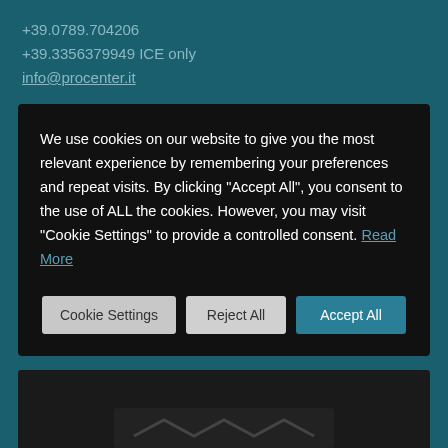+39.0789.704206
+39.3356379949 ICE only
info@procenter.it
We use cookies on our website to give you the most relevant experience by remembering your preferences and repeat visits. By clicking "Accept All", you consent to the use of ALL the cookies. However, you may visit "Cookie Settings" to provide a controlled consent. Read More
[Figure (screenshot): Cookie consent dialog with three buttons: Cookie Settings, Reject All, Accept All]